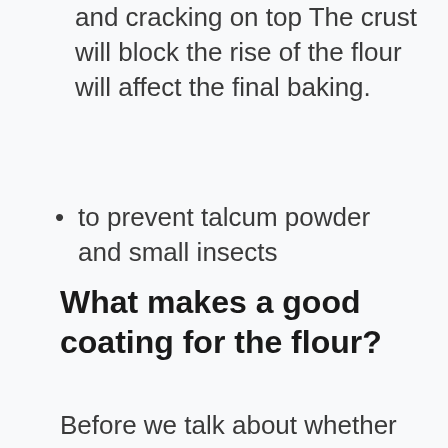and cracking on top The crust will block the rise of the flour will affect the final baking.
to prevent talcum powder and small insects
What makes a good coating for the flour?
Before we talk about whether plastic or